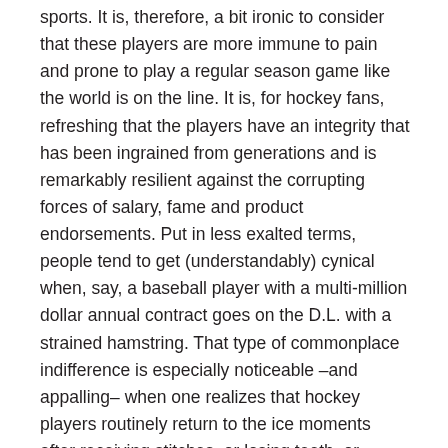sports. It is, therefore, a bit ironic to consider that these players are more immune to pain and prone to play a regular season game like the world is on the line. It is, for hockey fans, refreshing that the players have an integrity that has been ingrained from generations and is remarkably resilient against the corrupting forces of salary, fame and product endorsements. Put in less exalted terms, people tend to get (understandably) cynical when, say, a baseball player with a multi-million dollar annual contract goes on the D.L. with a strained hamstring. That type of commonplace indifference is especially noticeable –and appalling– when one realizes that hockey players routinely return to the ice moments after receiving stitches, or losing teeth, or suffering bruised (and in some cases, broken) bones. Google it if you don't believe me.
None of this is to say that one might enjoy the sport more